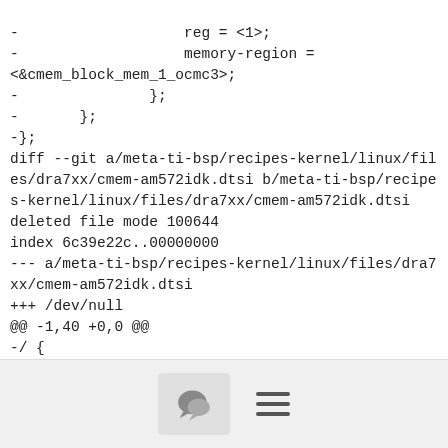-                   reg = <1>;
-                   memory-region =
<&cmem_block_mem_1_ocmc3>;
-               };
-       };
-};
diff --git a/meta-ti-bsp/recipes-kernel/linux/files/dra7xx/cmem-am572idk.dtsi b/meta-ti-bsp/recipes-kernel/linux/files/dra7xx/cmem-am572idk.dtsi
deleted file mode 100644
index 6c39e22c..00000000
--- a/meta-ti-bsp/recipes-kernel/linux/files/dra7xx/cmem-am572idk.dtsi
+++ /dev/null
@@ -1,40 +0,0 @@
-/ {
-       reserved-memory {
-               #address-cells = <2>;
-               #size-cells = <2>;